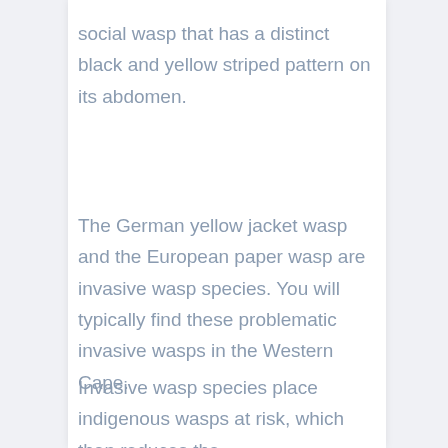social wasp that has a distinct black and yellow striped pattern on its abdomen.
The German yellow jacket wasp and the European paper wasp are invasive wasp species. You will typically find these problematic invasive wasps in the Western Cape.
Invasive wasp species place indigenous wasps at risk, which then reduces the